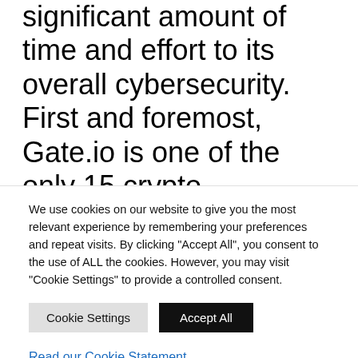significant amount of time and effort to its overall cybersecurity. First and foremost, Gate.io is one of the only 15 crypto exchanges in the entire world with a trust score of 10 on Coingecko. In addition, the exchange has also received a CER (Crypto Exchange Ranks) certification from Hacken. The CER certificate shows that the exchange had invested enough time and resources into the traders' fund's
We use cookies on our website to give you the most relevant experience by remembering your preferences and repeat visits. By clicking "Accept All", you consent to the use of ALL the cookies. However, you may visit "Cookie Settings" to provide a controlled consent.
Cookie Settings
Accept All
Read our Cookie Statement